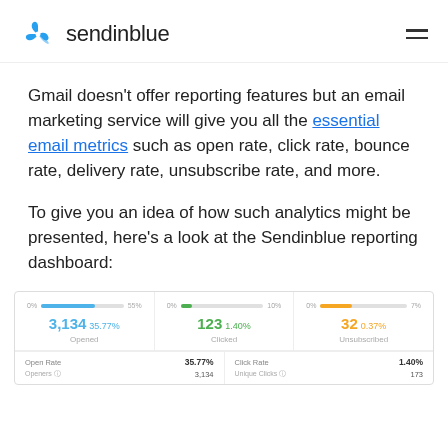sendinblue
Gmail doesn’t offer reporting features but an email marketing service will give you all the essential email metrics such as open rate, click rate, bounce rate, delivery rate, unsubscribe rate, and more.
To give you an idea of how such analytics might be presented, here’s a look at the Sendinblue reporting dashboard:
[Figure (screenshot): Sendinblue reporting dashboard showing three metric cards: Opened 3,134 (35.77%), Clicked 123 (1.40%), Unsubscribed 32 (0.37%); below shows Open Rate 35.77%, Click Rate 1.40%, Openers 3,134, Unique Clicks 173]